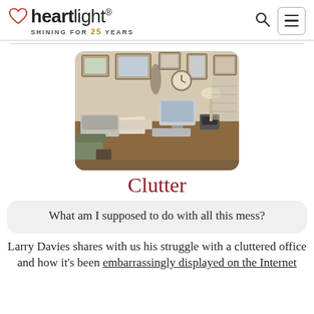heartlight® SHINING FOR 25 YEARS
[Figure (photo): A cluttered office desk with a computer monitor, keyboard, stacked papers, framed photos on the walls, a clock, lamp, and various items covering nearly every surface.]
Clutter
What am I supposed to do with all this mess?
Larry Davies shares with us his struggle with a cluttered office and how it's been embarrassingly displayed on the Internet